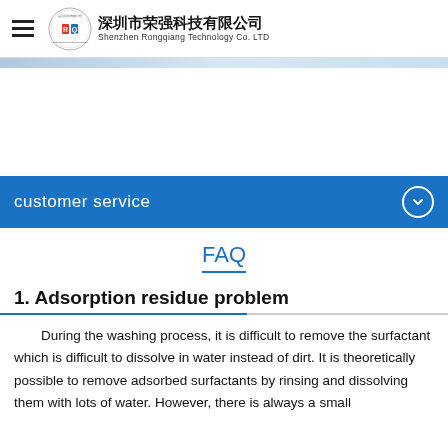深圳市荣强科技有限公司 Shenzhen Rongqiang Technology Co. LTD
customer service
FAQ
1. Adsorption residue problem
During the washing process, it is difficult to remove the surfactant which is difficult to dissolve in water instead of dirt. It is theoretically possible to remove adsorbed surfactants by rinsing and dissolving them with lots of water. However, there is always a small